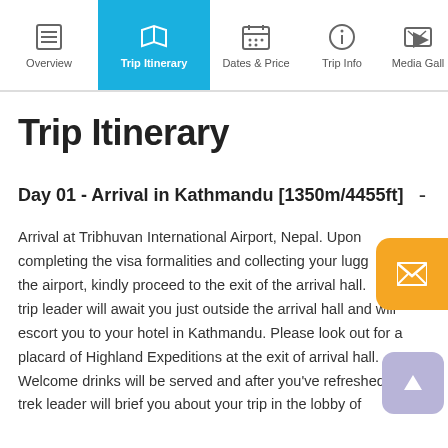Overview | Trip Itinerary | Dates & Price | Trip Info | Media Gallery
Trip Itinerary
Day 01 - Arrival in Kathmandu [1350m/4455ft]
Arrival at Tribhuvan International Airport, Nepal. Upon completing the visa formalities and collecting your luggage at the airport, kindly proceed to the exit of the arrival hall. Our trip leader will await you just outside the arrival hall and will escort you to your hotel in Kathmandu. Please look out for a placard of Highland Expeditions at the exit of arrival hall. Welcome drinks will be served and after you've refreshed, your trek leader will brief you about your trip in the lobby of